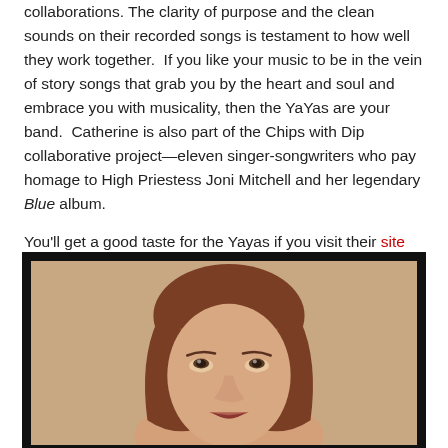collaborations. The clarity of purpose and the clean sounds on their recorded songs is testament to how well they work together. If you like your music to be in the vein of story songs that grab you by the heart and soul and embrace you with musicality, then the YaYas are your band. Catherine is also part of the Chips with Dip collaborative project—eleven singer-songwriters who pay homage to High Priestess Joni Mitchell and her legendary Blue album.
You'll get a good taste for the Yayas if you visit their site and watch their videos and listen to a few tunes. Highly recommended.
To hear some clips from the Chicks with Dip, check out this site.
[Figure (photo): Portrait photo of a woman with reddish-brown shoulder-length hair, looking upward, against a warm beige background, framed with a black border.]